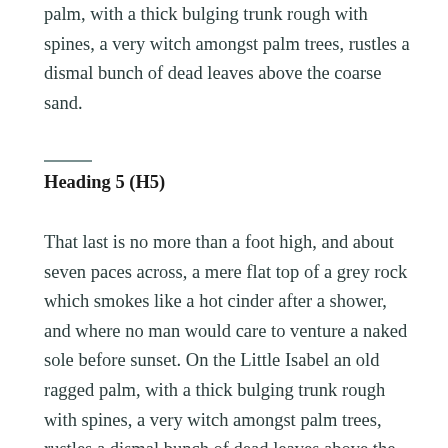palm, with a thick bulging trunk rough with spines, a very witch amongst palm trees, rustles a dismal bunch of dead leaves above the coarse sand.
Heading 5 (H5)
That last is no more than a foot high, and about seven paces across, a mere flat top of a grey rock which smokes like a hot cinder after a shower, and where no man would care to venture a naked sole before sunset. On the Little Isabel an old ragged palm, with a thick bulging trunk rough with spines, a very witch amongst palm trees, rustles a dismal bunch of dead leaves above the coarse sand.